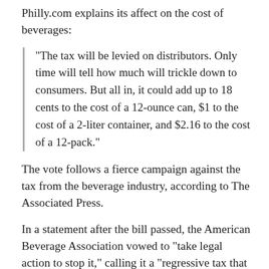Philly.com explains its affect on the cost of beverages:
"The tax will be levied on distributors. Only time will tell how much will trickle down to consumers. But all in, it could add up to 18 cents to the cost of a 12-ounce can, $1 to the cost of a 2-liter container, and $2.16 to the cost of a 12-pack."
The vote follows a fierce campaign against the tax from the beverage industry, according to The Associated Press.
In a statement after the bill passed, the American Beverage Association vowed to "take legal action to stop it," calling it a "regressive tax that unfairly singles out beverages, including low- and no-calorie choices." It added: "The fact